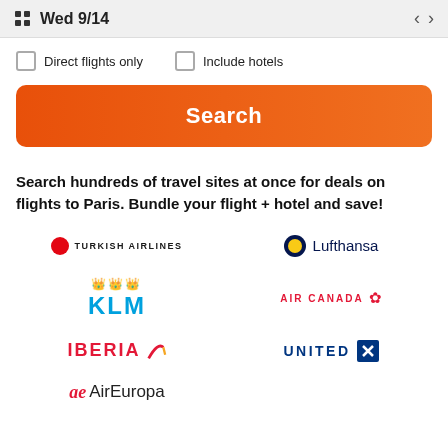Wed 9/14
Direct flights only
Include hotels
Search
Search hundreds of travel sites at once for deals on flights to Paris. Bundle your flight + hotel and save!
[Figure (logo): Turkish Airlines logo]
[Figure (logo): Lufthansa logo]
[Figure (logo): KLM logo]
[Figure (logo): Air Canada logo]
[Figure (logo): Iberia logo]
[Figure (logo): United logo]
[Figure (logo): Air Europa logo]